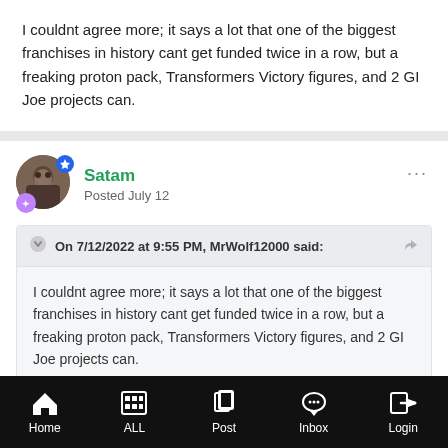I couldnt agree more; it says a lot that one of the biggest franchises in history cant get funded twice in a row, but a freaking proton pack, Transformers Victory figures, and 2 GI Joe projects can.
Satam
Posted July 12
On 7/12/2022 at 9:55 PM, MrWolf12000 said:
I couldnt agree more; it says a lot that one of the biggest franchises in history cant get funded twice in a row, but a freaking proton pack, Transformers Victory figures, and 2 GI Joe projects can.
Home  ALL  Post  Inbox  Login